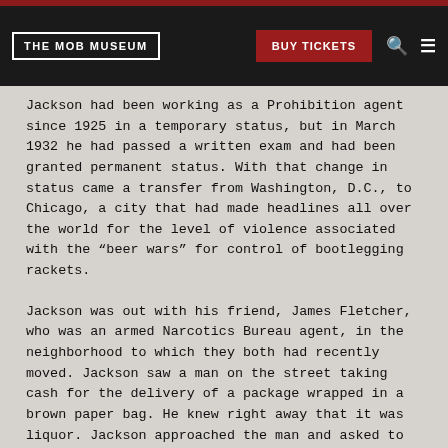THE MOB MUSEUM | BUY TICKETS
Jackson had been working as a Prohibition agent since 1925 in a temporary status, but in March 1932 he had passed a written exam and had been granted permanent status. With that change in status came a transfer from Washington, D.C., to Chicago, a city that had made headlines all over the world for the level of violence associated with the “beer wars” for control of bootlegging rackets.
Jackson was out with his friend, James Fletcher, who was an armed Narcotics Bureau agent, in the neighborhood to which they both had recently moved. Jackson saw a man on the street taking cash for the delivery of a package wrapped in a brown paper bag. He knew right away that it was liquor. Jackson approached the man and asked to buy liquor.